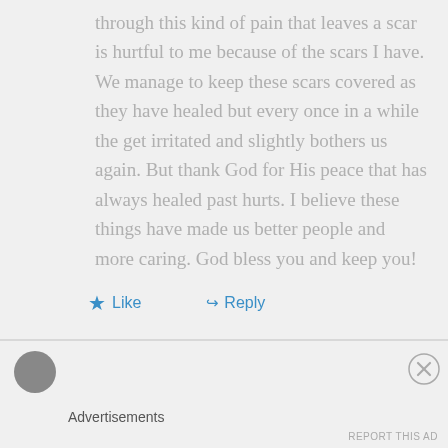through this kind of pain that leaves a scar is hurtful to me because of the scars I have. We manage to keep these scars covered as they have healed but every once in a while the get irritated and slightly bothers us again. But thank God for His peace that has always healed past hurts. I believe these things have made us better people and more caring. God bless you and keep you!
Like
Reply
Advertisements
REPORT THIS AD